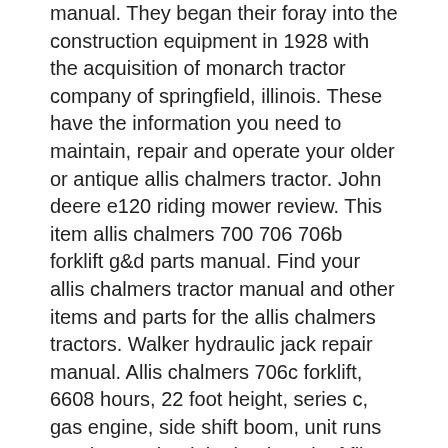manual. They began their foray into the construction equipment in 1928 with the acquisition of monarch tractor company of springfield, illinois. These have the information you need to maintain, repair and operate your older or antique allis chalmers tractor. John deere e120 riding mower review. This item allis chalmers 700 706 706b forklift g&d parts manual. Find your allis chalmers tractor manual and other items and parts for the allis chalmers tractors. Walker hydraulic jack repair manual. Allis chalmers 706c forklift, 6608 hours, 22 foot height, series c, gas engine, side shift boom, unit runs good. Download the bookmark of file pdf allis chalmers 700 706 706b forklifts parts catalog.txt.